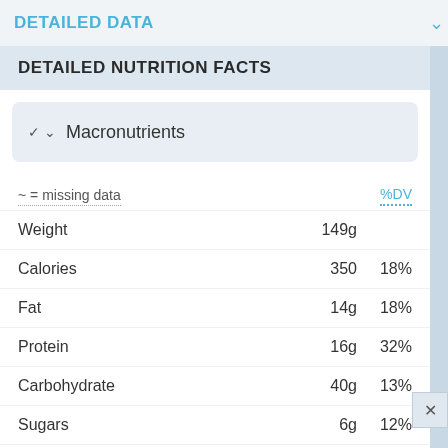DETAILED DATA
DETAILED NUTRITION FACTS
Macronutrients
|  |  | %DV |
| --- | --- | --- |
| Weight | 149g |  |
| Calories | 350 | 18% |
| Fat | 14g | 18% |
| Protein | 16g | 32% |
| Carbohydrate | 40g | 13% |
| Sugars | 6g | 12% |
| Fiber | 1.9g | 7% |